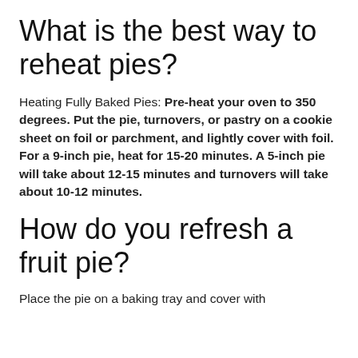What is the best way to reheat pies?
Heating Fully Baked Pies: Pre-heat your oven to 350 degrees. Put the pie, turnovers, or pastry on a cookie sheet on foil or parchment, and lightly cover with foil. For a 9-inch pie, heat for 15-20 minutes. A 5-inch pie will take about 12-15 minutes and turnovers will take about 10-12 minutes.
How do you refresh a fruit pie?
Place the pie on a baking tray and cover with